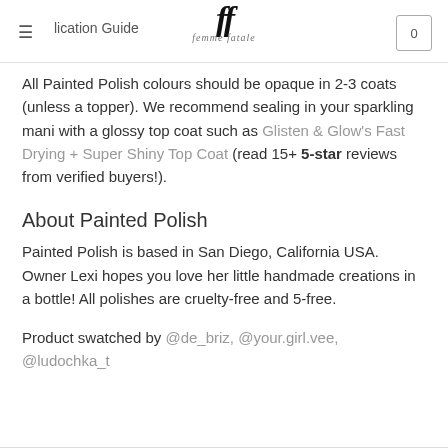≡ Application Guide  ff femme fatale  0
All Painted Polish colours should be opaque in 2-3 coats (unless a topper). We recommend sealing in your sparkling mani with a glossy top coat such as Glisten & Glow's Fast Drying + Super Shiny Top Coat (read 15+ 5-star reviews from verified buyers!).
About Painted Polish
Painted Polish is based in San Diego, California USA. Owner Lexi hopes you love her little handmade creations in a bottle! All polishes are cruelty-free and 5-free.
Product swatched by @de_briz, @your.girl.vee, @ludochka_t